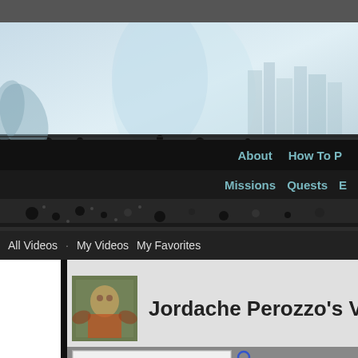[Figure (screenshot): Website header with decorative cityscape and floral/nature grunge artwork in blue-gray tones]
About   How To P
Missions   Quests   E
All Videos · My Videos   My Favorites
Jordache Perozzo's Videos
[Figure (screenshot): Search box with magnifying glass icon]